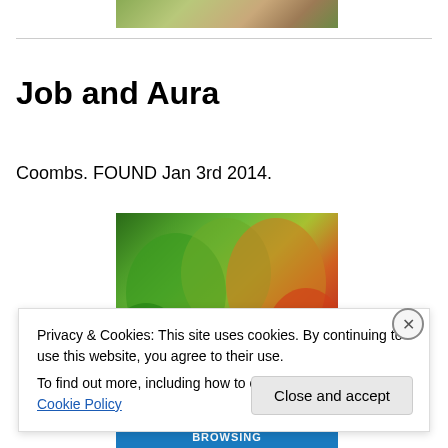[Figure (photo): Partial view of a colorful garden photo at the top of the page, showing flowers and foliage]
Job and Aura
Coombs. FOUND Jan 3rd 2014.
[Figure (photo): Colorful garden photo showing green and red/orange foliage and plants]
Privacy & Cookies: This site uses cookies. By continuing to use this website, you agree to their use.
To find out more, including how to control cookies, see here: Cookie Policy
Close and accept